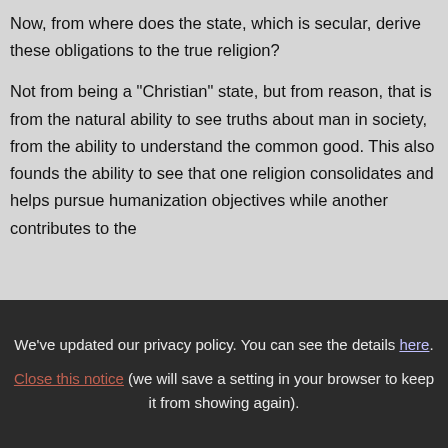Now, from where does the state, which is secular, derive these obligations to the true religion?
Not from being a "Christian" state, but from reason, that is from the natural ability to see truths about man in society, from the ability to understand the common good. This also founds the ability to see that one religion consolidates and helps pursue humanization objectives while another contributes to the
We've updated our privacy policy. You can see the details here. Close this notice (we will save a setting in your browser to keep it from showing again).